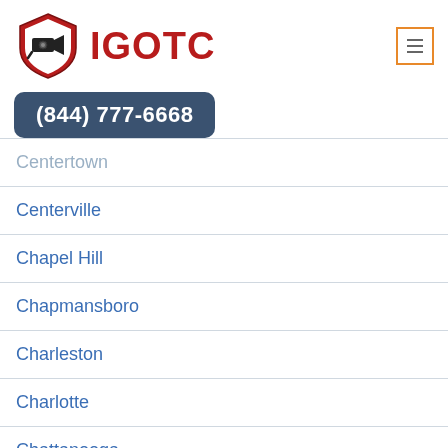[Figure (logo): IGOTC logo with security camera shield icon and red bold text IGOTC]
(844) 777-6668
Centertown
Centerville
Chapel Hill
Chapmansboro
Charleston
Charlotte
Chattanooga